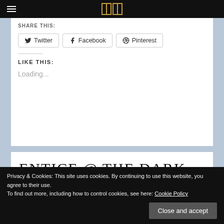Navigation bar with hamburger menu and site logo
SHARE THIS:
Twitter
Facebook
Pinterest
LIKE THIS:
Loading...
ENTICE @ THE DARK STYLE
Privacy & Cookies: This site uses cookies. By continuing to use this website, you agree to their use.
To find out more, including how to control cookies, see here: Cookie Policy